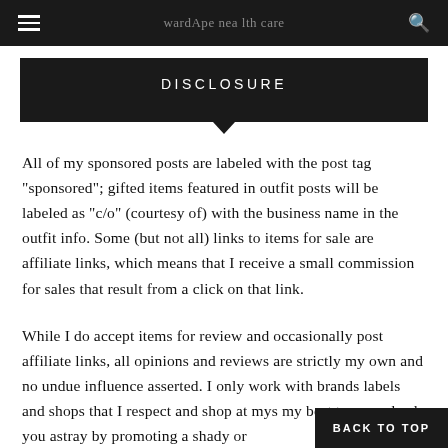BACK TO TOP
DISCLOSURE
All of my sponsored posts are labeled with the post tag "sponsored"; gifted items featured in outfit posts will be labeled as "c/o" (courtesy of) with the business name in the outfit info. Some (but not all) links to items for sale are affiliate links, which means that I receive a small commission for sales that result from a click on that link.
While I do accept items for review and occasionally post affiliate links, all opinions and reviews are strictly my own and no undue influence asserted. I only work with brands labels and shops that I respect and shop at mys my best to never lead you astray by promoting a shady or